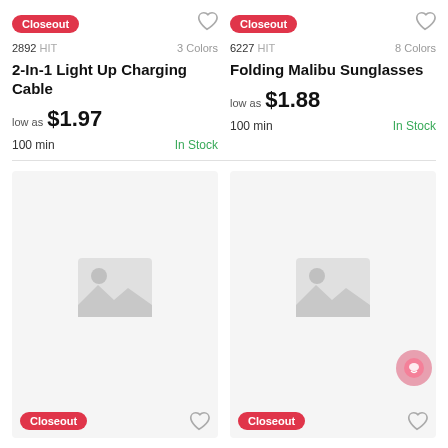Closeout
2892 HIT   3 Colors
2-In-1 Light Up Charging Cable
low as $1.97
100 min   In Stock
Closeout
6227 HIT   8 Colors
Folding Malibu Sunglasses
low as $1.88
100 min   In Stock
[Figure (photo): Product image placeholder for 2-In-1 Light Up Charging Cable]
Closeout
[Figure (photo): Product image placeholder for Folding Malibu Sunglasses]
Closeout